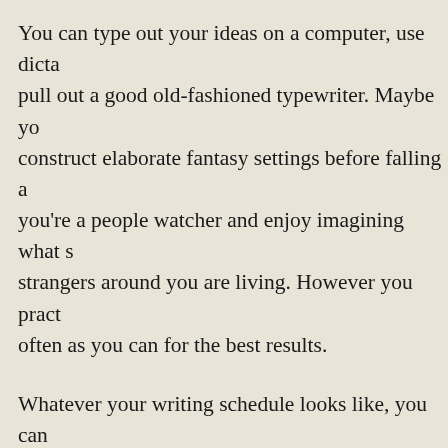You can type out your ideas on a computer, use dicta pull out a good old-fashioned typewriter. Maybe yo construct elaborate fantasy settings before falling a you're a people watcher and enjoy imagining what s strangers around you are living. However you pract often as you can for the best results.
Whatever your writing schedule looks like, you can fresh and motivating by switching up the type of pr you're working on a novel, it could be that penning your creative juices flowing. If you're a screenwriter to write a epic fantasy can stretch your writing musc ways. Authors of fiction might try their hand at bio papers, and a journalist might get into comedy.
If you've just started your writing journey, be gentle simply have fun with the process, knowing that you' and that if you keep reading, studying, and practici